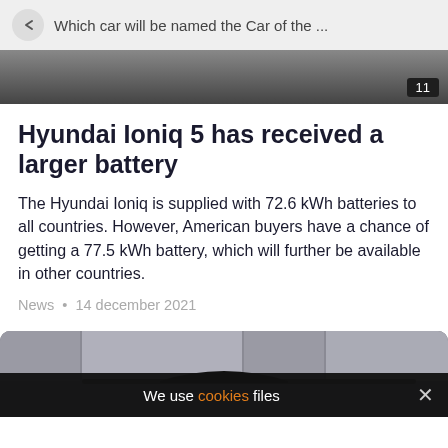Which car will be named the Car of the ...
[Figure (photo): Top portion of a car photo with a page number badge showing '11']
Hyundai Ioniq 5 has received a larger battery
The Hyundai Ioniq is supplied with 72.6 kWh batteries to all countries. However, American buyers have a chance of getting a 77.5 kWh battery, which will further be available in other countries.
News • 14 december 2021
[Figure (photo): Bottom portion of a car photo in a geometric grey interior setting, partially obscured by a cookie consent bar reading 'We use cookies files']